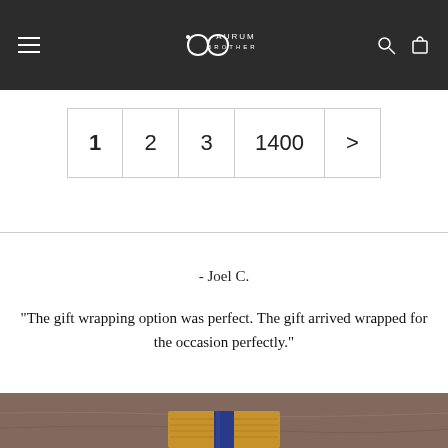AURUM BROTHERS
1  2  3  1400  >
- Joel C.
"The gift wrapping option was perfect. The gift arrived wrapped for the occasion perfectly."
[Figure (photo): Bottom portion of a wooden gift box with blue ribbon on a brownish-grey marble background]